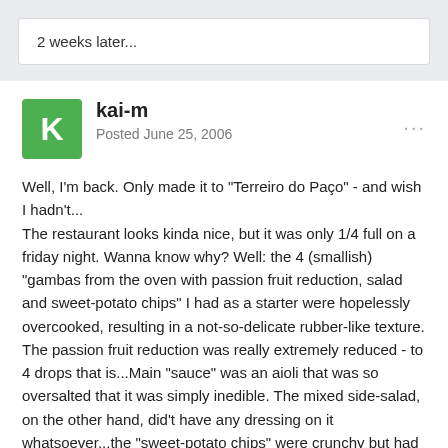2 weeks later...
kai-m
Posted June 25, 2006
Well, I'm back. Only made it to "Terreiro do Paço" - and wish I hadn't...
The restaurant looks kinda nice, but it was only 1/4 full on a friday night. Wanna know why? Well: the 4 (smallish) "gambas from the oven with passion fruit reduction, salad and sweet-potato chips" I had as a starter were hopelessly overcooked, resulting in a not-so-delicate rubber-like texture. The passion fruit reduction was really extremely reduced - to 4 drops that is...Main "sauce" was an aioli that was so oversalted that it was simply inedible. The mixed side-salad, on the other hand, did't have any dressing on it whatsoever...the "sweet-potato chips" were crunchy but had a tad of an "old-fat" odeur to them...
Main course was codfish with foam of codfish tongue, spinach-